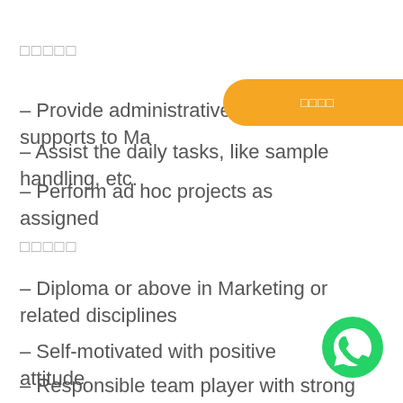□□□□□
[Figure (other): Orange rounded banner with white CJK text label]
– Provide administrative supports to Ma…
– Assist the daily tasks, like sample handling, etc.
– Perform ad hoc projects as assigned
□□□□□
– Diploma or above in Marketing or related disciplines
– Self-motivated with positive attitude
– Responsible team player with strong interpersonal
[Figure (logo): WhatsApp green circle icon]